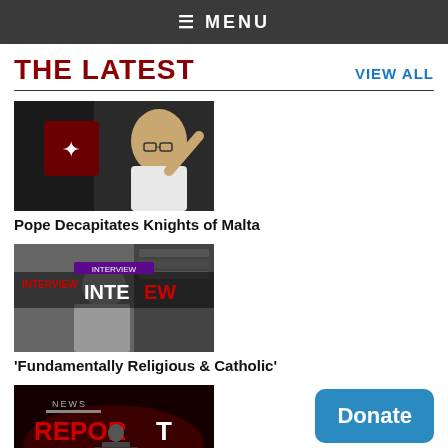≡ MENU
THE LATEST
VIEW ALL
[Figure (photo): Pope Francis in white vestments waving, with Knights of Malta cross emblem visible in background]
Pope Decapitates Knights of Malta
[Figure (photo): Black and white photo of a man at a desk with INTERVIEW text overlay in red and white]
‘Fundamentally Religious & Catholic’
[Figure (photo): NEWS REPORT screen with a figure at a podium, red background]
Donate